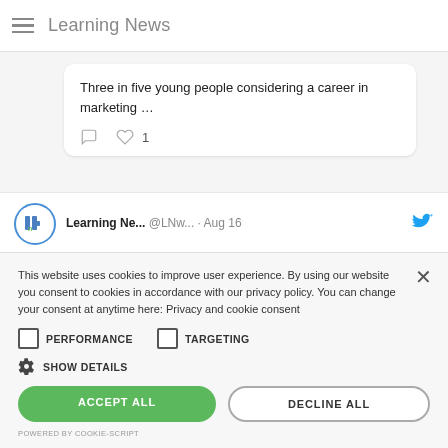Learning News
Three in five young people considering a career in marketing …
1
Learning Ne... @LNw... · Aug 16
This website uses cookies to improve user experience. By using our website you consent to cookies in accordance with our privacy policy. You can change your consent at anytime here: Privacy and cookie consent
PERFORMANCE
TARGETING
SHOW DETAILS
ACCEPT ALL
DECLINE ALL
POWERED BY COOKIE-SCRIPT